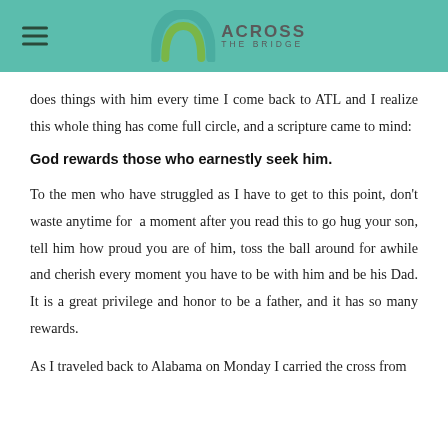Across The Bridge
does things with him every time I come back to ATL and I realize this whole thing has come full circle, and a scripture came to mind:
God rewards those who earnestly seek him.
To the men who have struggled as I have to get to this point, don't waste anytime for a moment after you read this to go hug your son, tell him how proud you are of him, toss the ball around for awhile and cherish every moment you have to be with him and be his Dad. It is a great privilege and honor to be a father, and it has so many rewards.
As I traveled back to Alabama on Monday I carried the cross from